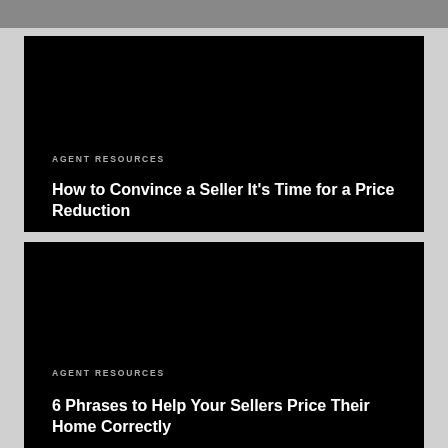[Figure (photo): Partial black card from top of page, cropped]
[Figure (photo): Black card with agent resources label and article title about price reduction]
AGENT RESOURCES
How to Convince a Seller It’s Time for a Price Reduction
[Figure (photo): Black card with agent resources label and article title about pricing phrases]
AGENT RESOURCES
6 Phrases to Help Your Sellers Price Their Home Correctly